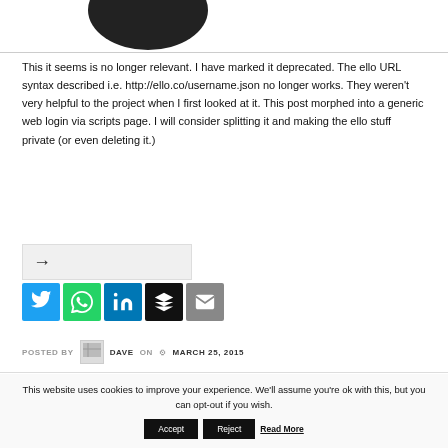[Figure (photo): Partial profile image (dark silhouette, top cut off) inside a bordered frame at top of page]
This it seems is no longer relevant. I have marked it deprecated. The ello URL syntax described i.e. http://ello.co/username.json no longer works. They weren't very helpful to the project when I first looked at it. This post morphed into a generic web login via scripts page. I will consider splitting it and making the ello stuff private (or even deleting it.)
[Figure (infographic): Social share buttons: Twitter (blue), WhatsApp (green), LinkedIn (blue), Buffer (black), Email (grey)]
POSTED BY  DAVE  ON  MARCH 25, 2015
This website uses cookies to improve your experience. We'll assume you're ok with this, but you can opt-out if you wish.